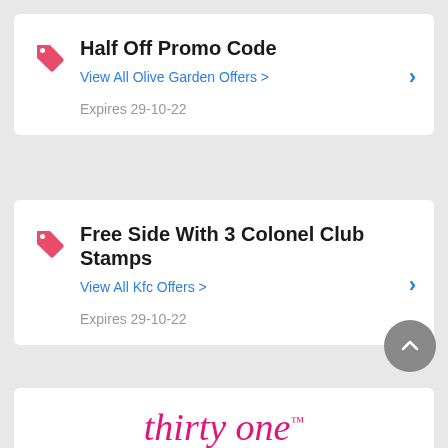Half Off Promo Code
View All Olive Garden Offers >
Expires 29-10-22
Free Side With 3 Colonel Club Stamps
View All Kfc Offers >
Expires 29-10-22
[Figure (logo): Thirty One cursive logo in pink/magenta script font, partially visible at bottom of page]